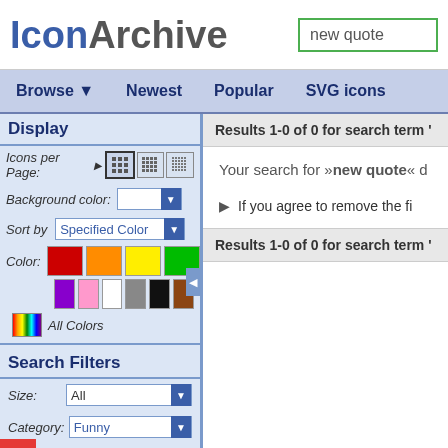IconArchive — new quote
Browse ▼   Newest   Popular   SVG icons
Display
Icons per Page: [grid options]
Background color: [dropdown]
Sort by: Specified Color
Color: [color swatches] All Colors
Search Filters
Size: All
Category: Funny
Style: Photorealistic
Results 1-0 of 0 for search term
Your search for »new quote« d
If you agree to remove the fi
Results 1-0 of 0 for search term